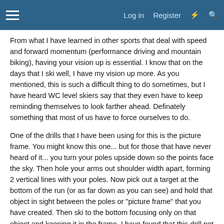Log in  Register
From what I have learned in other sports that deal with speed and forward momentum (performance driving and mountain biking), having your vision up is essential. I know that on the days that I ski well, I have my vision up more. As you mentioned, this is such a difficult thing to do sometimes, but I have heard WC level skiers say that they even have to keep reminding themselves to look farther ahead. Definately something that most of us have to force ourselves to do.
One of the drills that I have been using for this is the picture frame. You might know this one... but for those that have never heard of it... you turn your poles upside down so the points face the sky. Then hole your arms out shoulder width apart, forming 2 vertical lines with your poles. Now pick out a target at the bottom of the run (or as far down as you can see) and hold that object in sight between the poles or "picture frame" that you have created. Then ski to the bottom focusing only on that object and keeping it in the frame. I have found that this drill not only helps the vision a ton, but it also helps you feel the snow as well as